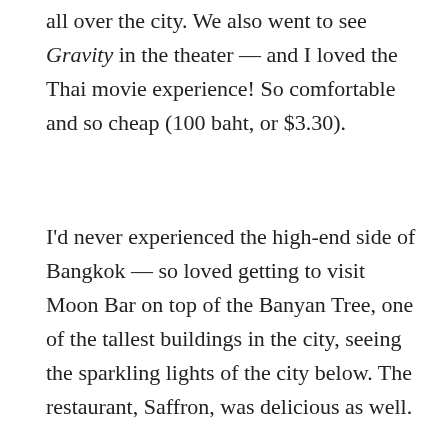all over the city. We also went to see Gravity in the theater — and I loved the Thai movie experience! So comfortable and so cheap (100 baht, or $3.30).
I'd never experienced the high-end side of Bangkok — so loved getting to visit Moon Bar on top of the Banyan Tree, one of the tallest buildings in the city, seeing the sparkling lights of the city below. The restaurant, Saffron, was delicious as well.
[Figure (photo): Blurred/bokeh photo of a cafe scene with coffee cups on a table, warm sepia tones]